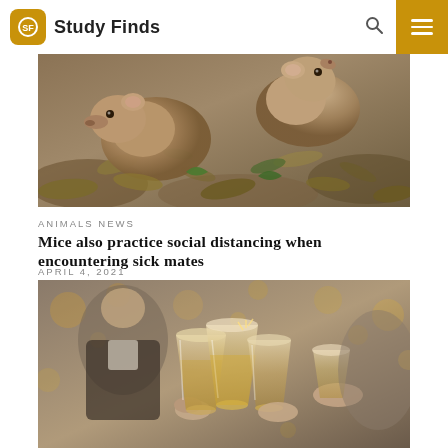Study Finds
[Figure (photo): Two brown mice/voles foraging among dried leaves and plant matter, close-up nature photography]
ANIMALS NEWS
Mice also practice social distancing when encountering sick mates
APRIL 4, 2021
[Figure (photo): Group of people clinking whisky glasses at a social gathering with bokeh lights in background, man visible in background]